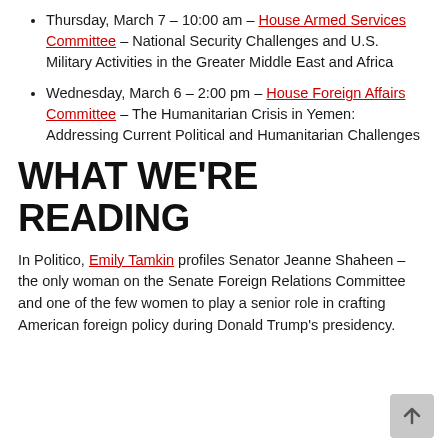Thursday, March 7 – 10:00 am – House Armed Services Committee – National Security Challenges and U.S. Military Activities in the Greater Middle East and Africa
Wednesday, March 6 – 2:00 pm – House Foreign Affairs Committee – The Humanitarian Crisis in Yemen: Addressing Current Political and Humanitarian Challenges
WHAT WE'RE READING
In Politico, Emily Tamkin profiles Senator Jeanne Shaheen – the only woman on the Senate Foreign Relations Committee and one of the few women to play a senior role in crafting American foreign policy during Donald Trump's presidency.